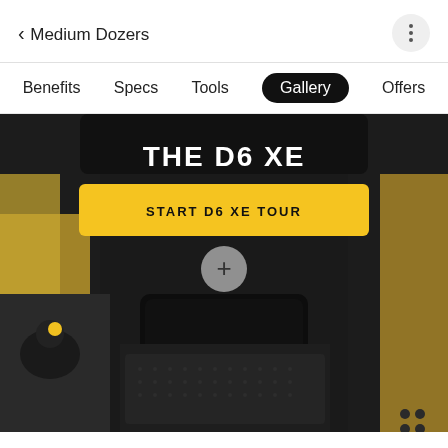< Medium Dozers
Benefits
Specs
Tools
Gallery
Offers
[Figure (screenshot): Interior view of CAT D6 XE dozer cab showing control panel and tablet display. Overlay text reads 'THE D6 XE' with a yellow button 'START D6 XE TOUR' and a plus icon below.]